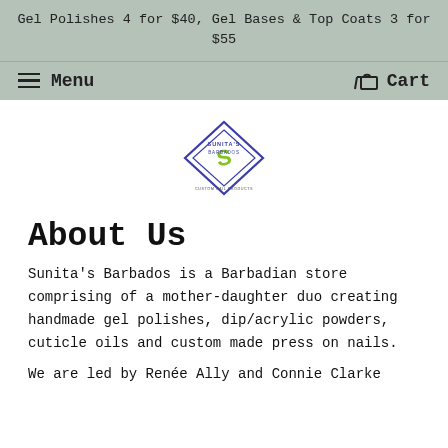Gel Polishes 4 for $40, Gel Bases & Top Coats 3 for $55
Menu   Cart
[Figure (logo): Sunita's Barbados diamond-shaped logo with green swirl and blue border, text SUNITA'S BARBADOS and CUSTOM NAIL PRODUCTS]
About Us
Sunita's Barbados is a Barbadian store comprising of a mother-daughter duo creating handmade gel polishes, dip/acrylic powders, cuticle oils and custom made press on nails.
We are led by Renée Ally and Connie Clarke